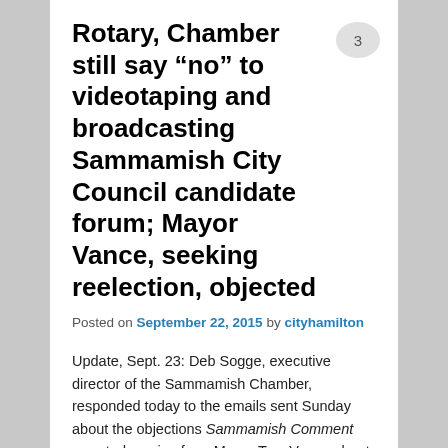Rotary, Chamber still say “no” to videotaping and broadcasting Sammamish City Council candidate forum; Mayor Vance, seeking reelection, objected
Posted on September 22, 2015 by cityhamilton
Update, Sept. 23: Deb Sogge, executive director of the Sammamish Chamber, responded today to the emails sent Sunday about the objections Sammamish Comment reported coming from Mayor Tom Vance about videotaping the October 7 candidates’ forum.
Sogge was one of four people to make the decision to not